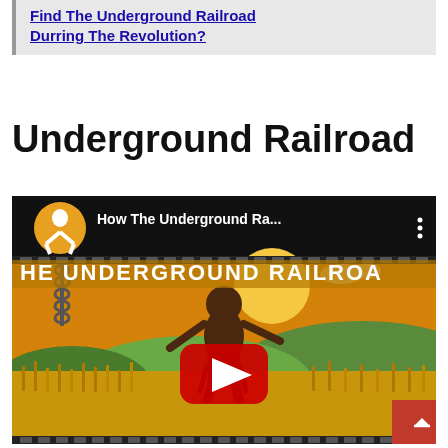Find The Underground Railroad Durring The Revolution?
Underground Railroad
[Figure (screenshot): YouTube video thumbnail showing an animated scene from 'How The Underground Ra...' with a dark-skinned figure running through a golden wheat field, a chain hanging on the left, warm sunset background with green hills. A red YouTube play button overlay is centered. Text at top reads 'HE UNDERGROUND RAILROA'. YouTube channel logo (figure icon on orange circle) and video title visible in top bar.]